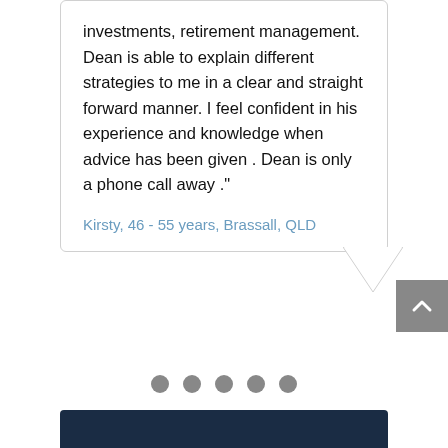investments, retirement management. Dean is able to explain different strategies to me in a clear and straight forward manner. I feel confident in his experience and knowledge when advice has been given . Dean is only a phone call away ."
Kirsty, 46 - 55 years, Brassall, QLD